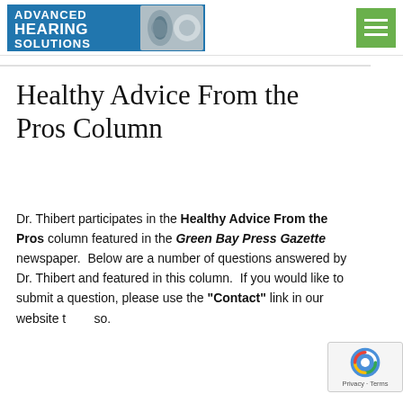Advanced Hearing Solutions [logo] [hamburger menu]
Healthy Advice From the Pros Column
Dr. Thibert participates in the Healthy Advice From the Pros column featured in the Green Bay Press Gazette newspaper. Below are a number of questions answered by Dr. Thibert and featured in this column. If you would like to submit a question, please use the "Contact" link in our website to do so.